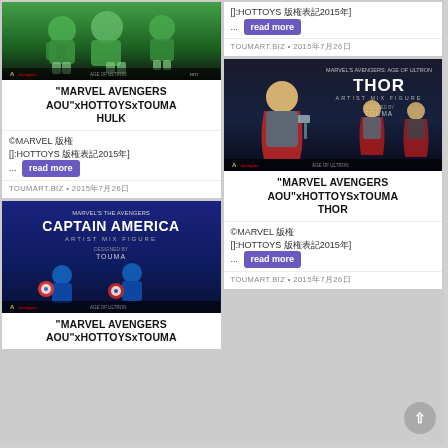[Figure (photo): Hulk Artist Mix Figure from Marvel Avengers Age of Ultron by Hot Toys x TOUMA, green figures on dark background]
"MARVEL AVENGERS AOU"xHOTTOYSxTOUMA HULK
©MARVEL 版権 [:HOTTOYS 版権表記2015年] ... read more
TOUMART.BIZ • 2015年7月26日
[Figure (photo): Captain America Artist Mix Figure from Marvel's The Avengers by Hot Toys x TOUMA, figure on dark blue background]
"MARVEL AVENGERS AOU"xHOTTOYSxTOUMA
[:HOTTOYS 版権表記2015年] ... read more
TOUMART.BIZ • 2015年7月26日
[Figure (photo): Thor Artist Mix Figure from Marvel's Avengers Age of Ultron by Hot Toys x TOUMA, figure on dark background]
"MARVEL AVENGERS AOU"xHOTTOYSxTOUMA THOR
©MARVEL 版権 [:HOTTOYS 版権表記2015年] ... read more
TOUMART.BIZ • 2015年7月26日